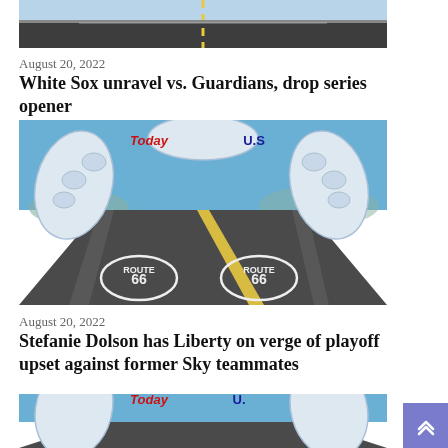[Figure (photo): Top portion of a road photo (bottom of previous article image), showing a dark asphalt road with yellow center line]
August 20, 2022
White Sox unravel vs. Guardians, drop series opener
[Figure (photo): Route 66 road photo with a large inflatable arch spanning the road reading 'Today.US' in red letters on a blue/white balloon arch, with Route 66 markers painted on the road, blue sky background]
August 20, 2022
Stefanie Dolson has Liberty on verge of playoff upset against former Sky teammates
[Figure (photo): Bottom partial view of another Route 66 road photo with the Today.US inflatable arch, similar to above image, partially cropped]